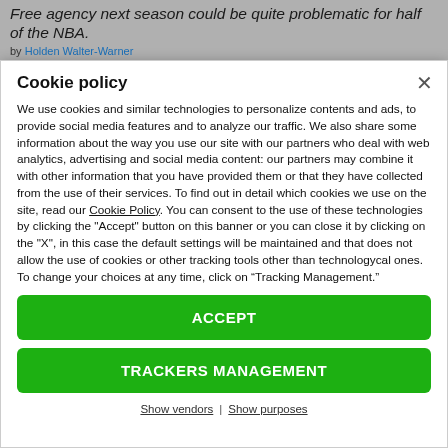Free agency next season could be quite problematic for half of the NBA.
by Holden Walter-Warner
Cookie policy
We use cookies and similar technologies to personalize contents and ads, to provide social media features and to analyze our traffic. We also share some information about the way you use our site with our partners who deal with web analytics, advertising and social media content: our partners may combine it with other information that you have provided them or that they have collected from the use of their services. To find out in detail which cookies we use on the site, read our Cookie Policy. You can consent to the use of these technologies by clicking the "Accept" button on this banner or you can close it by clicking on the "X", in this case the default settings will be maintained and that does not allow the use of cookies or other tracking tools other than technologycal ones. To change your choices at any time, click on “Tracking Management.”
ACCEPT
TRACKERS MANAGEMENT
Show vendors | Show purposes